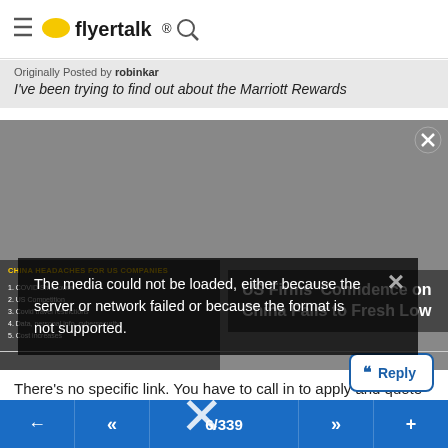flyertalk
Originally Posted by robinkar
I've been trying to find out about the Marriott Rewards...
[Figure (screenshot): Video player showing a news segment about 'China Headaches for US Companies' with a media error overlay: 'The media could not be loaded, either because the server or network failed or because the format is not supported.' A news headline overlay reads 'US Firms' Confidence on China Falls to Fresh Low'. A large X close button is visible.]
There's no specific link. You have to call in to apply and quote a code, or apply online and quote the code to get another 20k points.
6/339